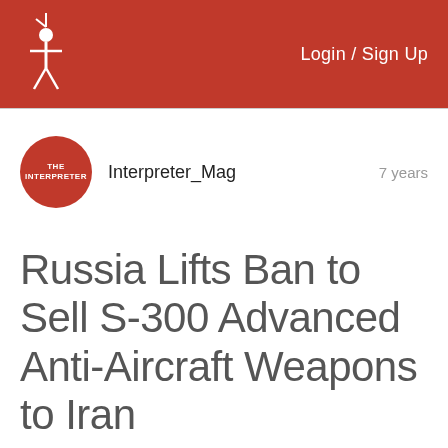Login / Sign Up
Interpreter_Mag  7 years
Russia Lifts Ban to Sell S-300 Advanced Anti-Aircraft Weapons to Iran